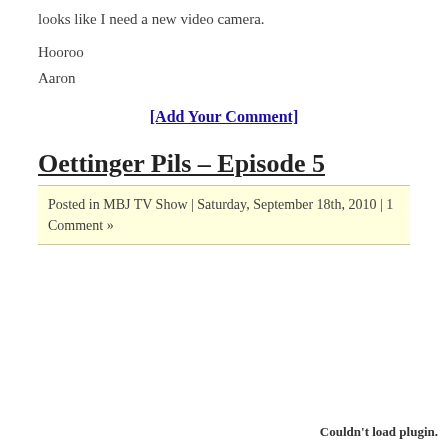looks like I need a new video camera.
Hooroo
Aaron
[Add Your Comment]
Oettinger Pils – Episode 5
Posted in MBJ TV Show | Saturday, September 18th, 2010 | 1 Comment »
Couldn't load plugin.